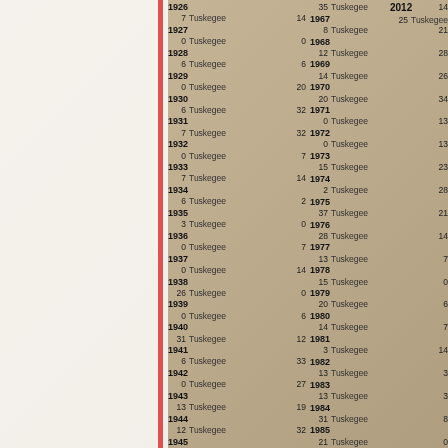1926: 35 Tuskegee 14
1926: 7 Tuskegee 14
1927: 0 Tuskegee 0
1928: 6 Tuskegee 6
1929: 0 Tuskegee 20
1930: 6 Tuskegee 32
1931: 7 Tuskegee 32
1932: 0 Tuskegee 7
1933: 7 Tuskegee 14
1934: 6 Tuskegee 2
1935: 3 Tuskegee 0
1936: 0 Tuskegee 7
1937: 0 Tuskegee 14
1938: 26 Tuskegee 0
1939: 0 Tuskegee 6
1940: 31 Tuskegee 12
1941: 6 Tuskegee 33
1942: 0 Tuskegee 27
1943: 13 Tuskegee 19
1944: 12 Tuskegee 32
1945: 0 Tuskegee 25
1967: 8 Tuskegee 21
1968: 12 Tuskegee 28
1969: 14 Tuskegee 26
1970: 20 Tuskegee 34
1971: 0 Tuskegee 13
1972: 0 Tuskegee 13
1973: 15 Tuskegee 23
1974: 2 Tuskegee 28
1975: 37 Tuskegee 21
1976: 28 Tuskegee 14
1977: 13 Tuskegee 7
1978: 15 Tuskegee 0
1979: 20 Tuskegee 6
1980: 14 Tuskegee 7
1981: 3 Tuskegee 14
1982: 13 Tuskegee 3
1983: 13 Tuskegee 3
1984: 31 Tuskegee 8
1985: 21 Tuskegee 0
1986
2012: 25 Tuskegee